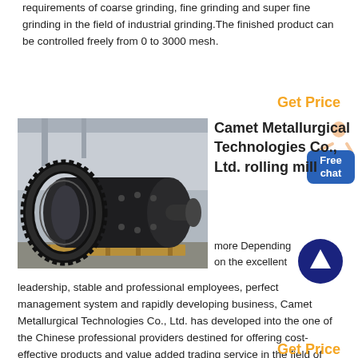requirements of coarse grinding, fine grinding and super fine grinding in the field of industrial grinding.The finished product can be controlled freely from 0 to 3000 mesh.
Get Price
[Figure (photo): Industrial ball mill / rolling mill equipment photographed in a factory — large cylindrical dark metal drum with large gear ring, on wooden pallets, industrial building background]
Camet Metallurgical Technologies Co., Ltd. rolling mill
more Depending on the excellent leadership, stable and professional employees, perfect management system and rapidly developing business, Camet Metallurgical Technologies Co., Ltd. has developed into the one of the Chinese professional providers destined for offering cost-effective products and value added trading service in the field of metallurgical engineering.
Get Price